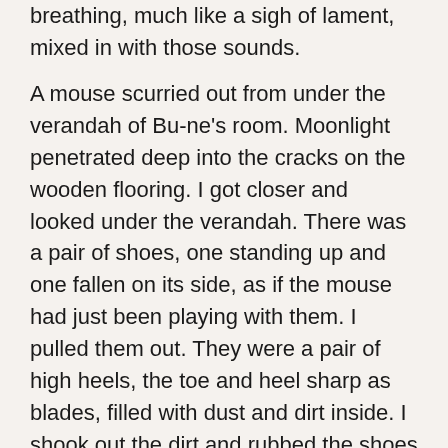breathing, much like a sigh of lament, mixed in with those sounds.
A mouse scurried out from under the verandah of Bu-ne's room. Moonlight penetrated deep into the cracks on the wooden flooring. I got closer and looked under the verandah. There was a pair of shoes, one standing up and one fallen on its side, as if the mouse had just been playing with them. I pulled them out. They were a pair of high heels, the toe and heel sharp as blades, filled with dust and dirt inside. I shook out the dirt and rubbed the shoes to give them a shine, then gently pushed in my wet feet. I swung forward, feeling like my ankles were about to give. I took the shoes off neatly on the terrace stone and put my eye on the door. It was dark inside so I could not see anything between the dense wooden frames. But strangely, I did not